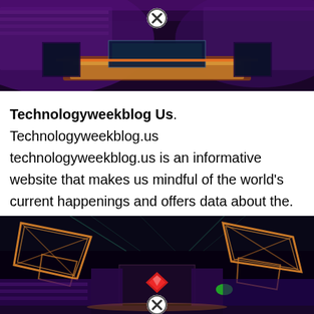[Figure (photo): Aerial view of an esports arena event with purple audience lighting, a central stage with orange/gold flooring, and large screens. A circular close (X) button overlay appears at the top center.]
Technologyweekblog Us. Technologyweekblog.us technologyweekblog.us is an informative website that makes us mindful of the world's current happenings and offers data about the. Perhaps you can write next articles referring to this article.
[Figure (photo): Interior view of an esports event venue showing large illuminated geometric diamond-shaped ceiling structures made of orange/gold lights against a dark background, with Dota 2 logo visible on a central screen and purple-lit audience on the sides. A circular close (X) button overlay appears at the bottom center.]